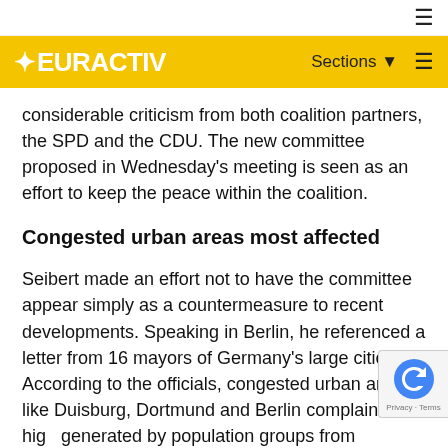EURACTIV | Sections | Menu
considerable criticism from both coalition partners, the SPD and the CDU. The new committee proposed in Wednesday's meeting is seen as an effort to keep the peace within the coalition.
Congested urban areas most affected
Seibert made an effort not to have the committee appear simply as a countermeasure to recent developments. Speaking in Berlin, he referenced a letter from 16 mayors of Germany's large cities. According to the officials, congested urban areas like Duisburg, Dortmund and Berlin complain of high... generated by population groups from Bulgaria a... Romania. They have not stated how many are of Roma